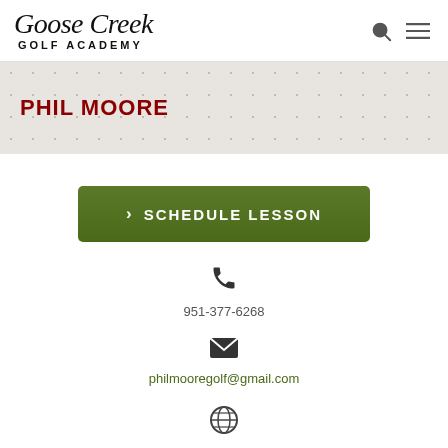Goose Creek Golf Academy
PHIL MOORE
› SCHEDULE LESSON
951-377-6268
philmooregolf@gmail.com